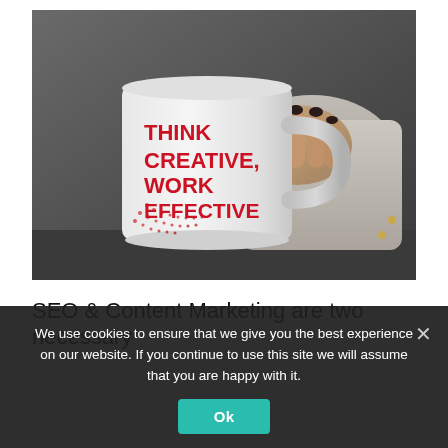[Figure (photo): A hand holding a white coffee mug with red bold text reading 'THINK CREATIVE, WORK EFFECTIVE' against a dark grey background.]
SEO & Content Marketing are two necessary
We use cookies to ensure that we give you the best experience on our website. If you continue to use this site we will assume that you are happy with it.